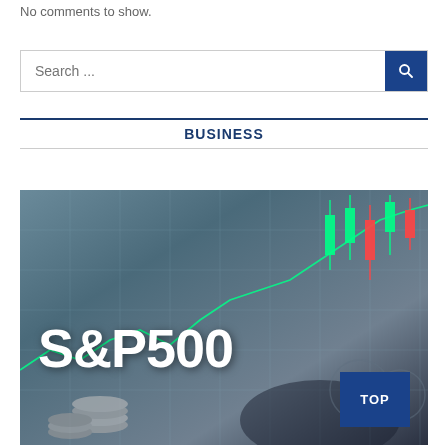No comments to show.
Search ...
BUSINESS
[Figure (photo): Stock market financial image showing candlestick charts, coins, and a hand with the text 'S&P500' overlaid in large white letters. A blue 'TOP' button appears in the lower right corner.]